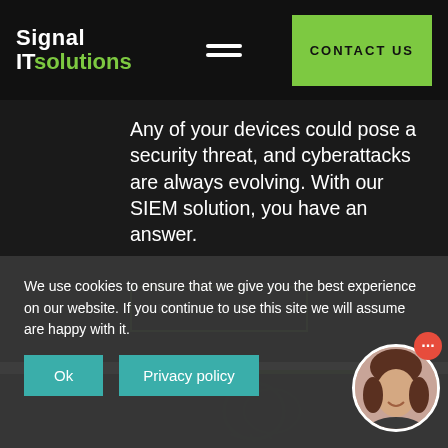Signal IT solutions | CONTACT US
Any of your devices could pose a security threat, and cyberattacks are always evolving. With our SIEM solution, you have an answer.
FIND OUT MORE
We use cookies to ensure that we give you the best experience on our website. If you continue to use this site we will assume are happy with it.
Ok
Privacy policy